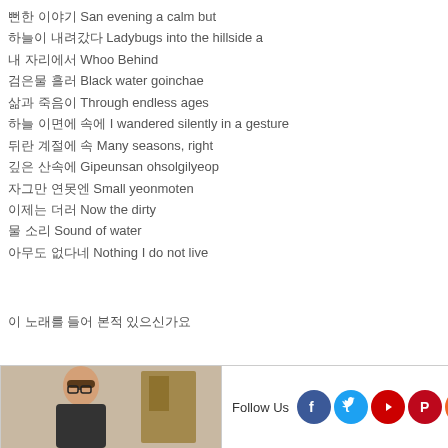뻔한 이야기 San evening a calm but
하늘이 내려갔다 Ladybugs into the hillside a
내 자리에서 Whoo Behind
검은물 흘러 Black water goinchae
삶과 죽음이 Through endless ages
하늘 이면에 속에 I wandered silently in a gesture
뒤란 계절에 속 Many seasons, right
깊은 산속에 Gipeunsan ohsolgilyeop
자그만 연못엔 Small yeonmoten
이제는 더러 Now the dirty
물 소리 Sound of water
아무도 없다네 Nothing I do not live
이 노래를 들어 본적 있으신가요
[Figure (photo): Person photo thumbnail in footer widget area]
Follow Us
[Figure (logo): Social media icons: Facebook, Twitter, YouTube, Pinterest, RSS]